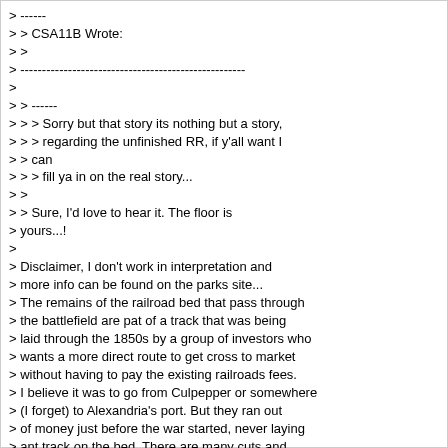> ------
> > CSA11B Wrote:
> >
> ----------------------------------------------------
>
> > ------
> > > Sorry but that story its nothing but a story,
> > > regarding the unfinished RR, if y'all want I
> > can
> > > fill ya in on the real story...
> >
> > Sure, I'd love to hear it. The floor is
> yours...!
>
> Disclaimer, I don't work in interpretation and
> more info can be found on the parks site...
> The remains of the railroad bed that pass through
> the battlefield are pat of a track that was being
> laid through the 1850s by a group of investors who
> wants a more direct route to get cross to market
> without having to pay the existing railroads fees.
> I believe it was to go from Culpepper or somewhere
> (I forget) to Alexandria's port. But they ran out
> of money just before the war started, never laying
> ant track on the bed. There are many cuts and
> fills as well as culverts and bridge abutments
> still remaining.
Pt.2
So as far as the unfinished railroad is concerned within the park boundary,
General Jackson used its cuts and fills as a ready made fortification when he
his his soldiers behind it. He engaged passing Yankee troops at the Brawner
farm and the battle lasted the whole morning without any formal order but true the